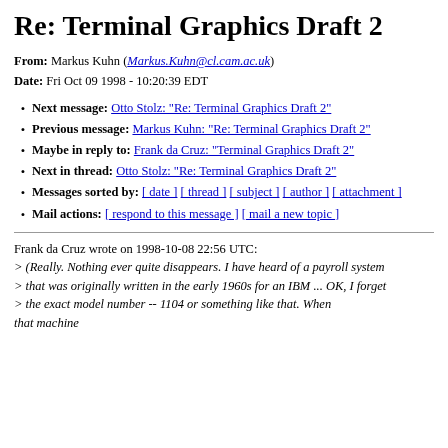Re: Terminal Graphics Draft 2
From: Markus Kuhn (Markus.Kuhn@cl.cam.ac.uk)
Date: Fri Oct 09 1998 - 10:20:39 EDT
Next message: Otto Stolz: "Re: Terminal Graphics Draft 2"
Previous message: Markus Kuhn: "Re: Terminal Graphics Draft 2"
Maybe in reply to: Frank da Cruz: "Terminal Graphics Draft 2"
Next in thread: Otto Stolz: "Re: Terminal Graphics Draft 2"
Messages sorted by: [ date ] [ thread ] [ subject ] [ author ] [ attachment ]
Mail actions: [ respond to this message ] [ mail a new topic ]
Frank da Cruz wrote on 1998-10-08 22:56 UTC:
> (Really. Nothing ever quite disappears. I have heard of a payroll system
> that was originally written in the early 1960s for an IBM ... OK, I forget
> the exact model number -- 1104 or something like that. When that machine